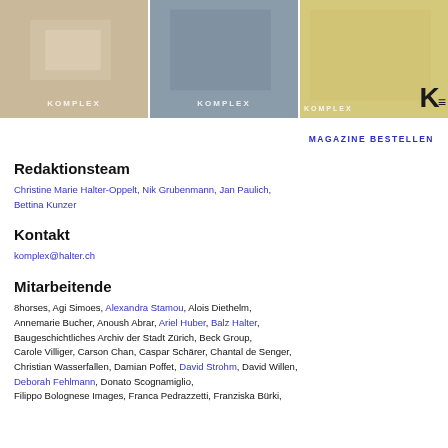[Figure (photo): Three magazine cover images with 'KOMPLEX' label overlay, and a large K logo on the rightmost image]
MAGAZINE BESTELLEN
Redaktionsteam
Christine Marie Halter-Oppelt, Nik Grubenmann, Jan Paulich, Bettina Kunzer
Kontakt
komplex@halter.ch
Mitarbeitende
8horses, Agi Simoes, Alexandra Stamou, Alois Diethelm, Annemarie Bucher, Anoush Abrar, Ariel Huber, Balz Halter, Baugeschichtliches Archiv der Stadt Zürich, Beck Group, Carole Villiger, Carson Chan, Caspar Schärer, Chantal de Senger, Christian Wasserfallen, Damian Poffet, David Strohm, David Willen, Deborah Fehlmann, Donato Scognamiglio, Filippo Bolognese Images, Franca Pedrazzetti, Franziska Bürki,